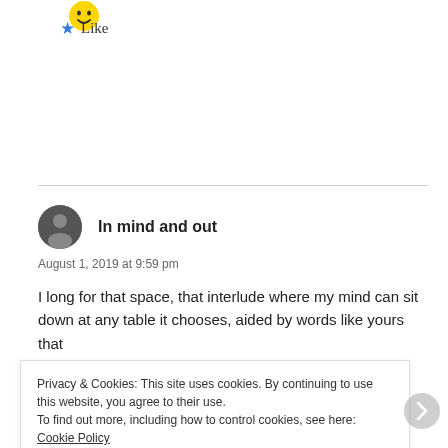[Figure (illustration): Emoji face (smiley) icon at top left]
★ Like
In mind and out
August 1, 2019 at 9:59 pm
I long for that space, that interlude where my mind can sit down at any table it chooses, aided by words like yours that
Privacy & Cookies: This site uses cookies. By continuing to use this website, you agree to their use.
To find out more, including how to control cookies, see here: Cookie Policy
Close and accept